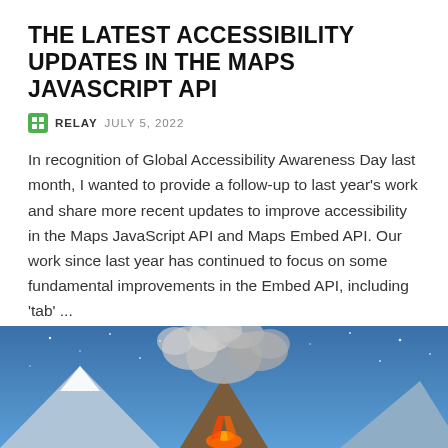THE LATEST ACCESSIBILITY UPDATES IN THE MAPS JAVASCRIPT API
RELAY  JULY 5, 2022
In recognition of Global Accessibility Awareness Day last month, I wanted to provide a follow-up to last year's work and share more recent updates to improve accessibility in the Maps JavaScript API and Maps Embed API. Our work since last year has continued to focus on some fundamental improvements in the Embed API, including 'tab' ...
Read More >
[Figure (illustration): Illustration of an erupting volcano at night with stars in the sky and smoke/ash clouds rising above the volcano]